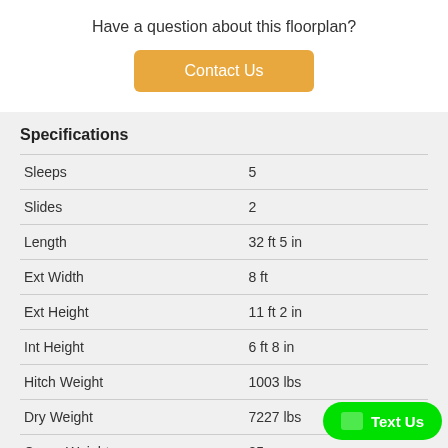Have a question about this floorplan?
Contact Us
Specifications
|  |  |
| --- | --- |
| Sleeps | 5 |
| Slides | 2 |
| Length | 32 ft 5 in |
| Ext Width | 8 ft |
| Ext Height | 11 ft 2 in |
| Int Height | 6 ft 8 in |
| Hitch Weight | 1003 lbs |
| Dry Weight | 7227 lbs |
| Cargo Weight | 25… |
| Fresh Water Capacity | 38 gals |
Text Us